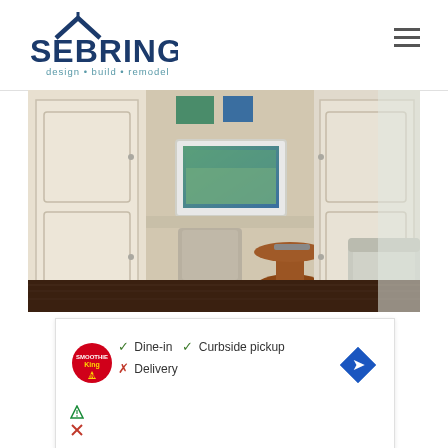[Figure (logo): Sebring Design Build Remodel logo — house roofline above bold navy text SEBRING, subtitle 'design • build • remodel' in teal/gray]
[Figure (photo): Interior room photo showing built-in white cabinetry, a desk with a computer monitor, a gray upholstered chair, a wooden side table, and a gray sofa/armchair in a warm-toned room]
[Figure (infographic): Ad banner showing Smoothie King logo with service options: checkmark Dine-in, checkmark Curbside pickup, X Delivery; navigation arrow icon on right; two small icons bottom left]